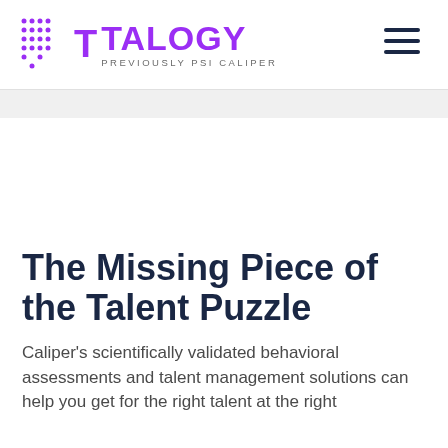[Figure (logo): Talogy logo with dot grid, T icon in purple, TALOGY wordmark in purple, and tagline PREVIOUSLY PSI CALIPER]
The Missing Piece of the Talent Puzzle
Caliper’s scientifically validated behavioral assessments and talent management solutions can help you get for the right talent at the right